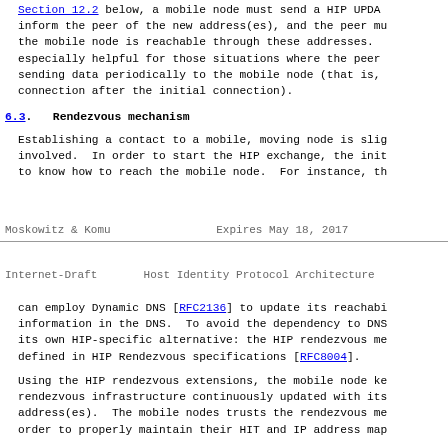Section 12.2 below, a mobile node must send a HIP UPDATE to inform the peer of the new address(es), and the peer must verify that the mobile node is reachable through these addresses. This is especially helpful for those situations where the peer is actively sending data periodically to the mobile node (that is, keeps the connection after the initial connection).
6.3. Rendezvous mechanism
Establishing a contact to a mobile, moving node is slightly more involved. In order to start the HIP exchange, the initiator needs to know how to reach the mobile node. For instance, th
Moskowitz & Komu                Expires May 18, 2017
Internet-Draft      Host Identity Protocol Architecture
can employ Dynamic DNS [RFC2136] to update its reachability information in the DNS. To avoid the dependency to DNS, HIP has its own HIP-specific alternative: the HIP rendezvous mechanism, defined in HIP Rendezvous specifications [RFC8004].
Using the HIP rendezvous extensions, the mobile node keeps the rendezvous infrastructure continuously updated with its current address(es). The mobile nodes trusts the rendezvous mechanism in order to properly maintain their HIT and IP address map